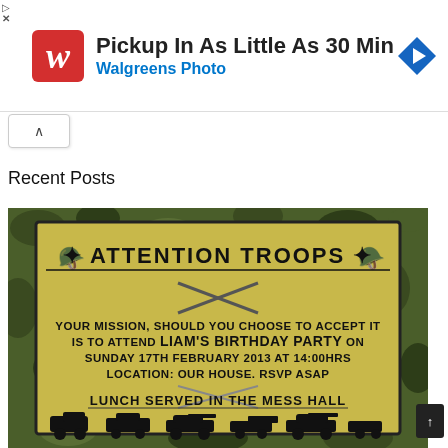[Figure (screenshot): Walgreens Photo advertisement banner: red W logo, text 'Pickup In As Little As 30 Min' in bold black, 'Walgreens Photo' in blue, blue diamond navigation arrow icon on right]
Recent Posts
[Figure (photo): Military-themed birthday party invitation on olive/tan background with camouflage border. Text reads: ATTENTION TROOPS / YOUR MISSION, SHOULD YOU CHOOSE TO ACCEPT IT IS TO ATTEND LIAM'S BIRTHDAY PARTY ON SUNDAY 17TH FEBRUARY 2013 AT 14:00HRS / LOCATION: OUR HOUSE. RSVP ASAP / LUNCH SERVED IN THE MESS HALL. Black silhouettes of military vehicles (truck, armored vehicle, tank, cannon) at the bottom.]